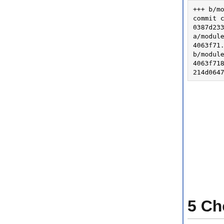+++ b/modules/hdf4_handler
@@ -1 +1 @@
-Subproject commit cc2cc0a84f108fc8ebfbca58ac33
+Subproject commit 0387d233554a14c240f8423aacf2
diff --git a/modules/hdf5_handler b/modules/hdf5_handler
index 4063f71..214d064 160000
--- a/modules/hdf5_handler
+++ b/modules/hdf5_handler
@@ -1 +1 @@
-Subproject commit 4063f71829af1189a29be9908f45
+Subproject commit 214d0647d708b77a9ed38a7ef881
edamame:bes jimg$
5 Cheat sheet items